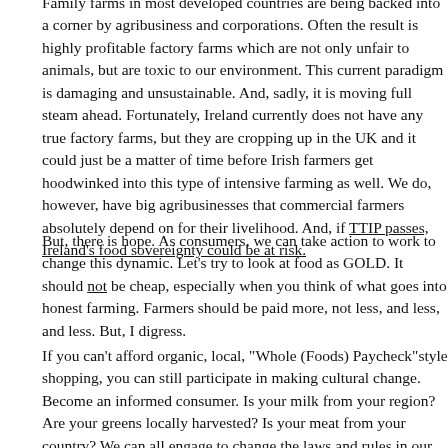Family farms in most developed countries are being backed into a corner by agribusiness and corporations. Often the result is highly profitable factory farms which are not only unfair to animals, but are toxic to our environment. This current paradigm is damaging and unsustainable. And, sadly, it is moving full steam ahead. Fortunately, Ireland currently does not have any true factory farms, but they are cropping up in the UK and it could just be a matter of time before Irish farmers get hoodwinked into this type of intensive farming as well. We do, however, have big agribusinesses that commercial farmers absolutely depend on for their livelihood. And, if TTIP passes, Ireland's food sovereignty could be at risk.
But, there is hope. As consumers, we can take action to work to change this dynamic. Let's try to look at food as GOLD. It should not be cheap, especially when you think of what goes into honest farming. Farmers should be paid more, not less, and less, and less. But, I digress.
If you can't afford organic, local, "Whole (Foods) Paycheck"style shopping, you can still participate in making cultural change. Become an informed consumer. Is your milk from your region? Are your greens locally harvested? Is your meat from your country? We can all engage to change the laws and rules in our countries. We all have a stake in our food system and we should all